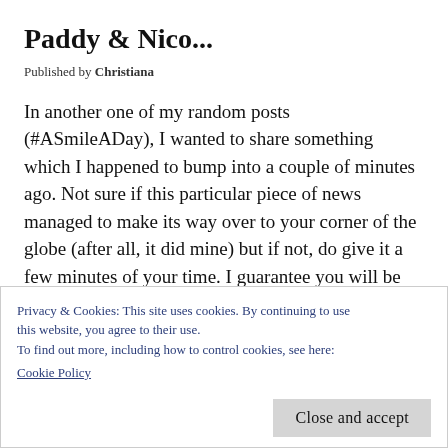Paddy & Nico...
Published by Christiana
In another one of my random posts (#ASmileADay), I wanted to share something which I happened to bump into a couple of minutes ago. Not sure if this particular piece of news managed to make its way over to your corner of the globe (after all, it did mine) but if not, do give it a few minutes of your time. I guarantee you will be glad that you did (if only for watching the, obnoxious & snarky, Simon Cowell make an s** of h
Privacy & Cookies: This site uses cookies. By continuing to use this website, you agree to their use.
To find out more, including how to control cookies, see here:
Cookie Policy
Close and accept